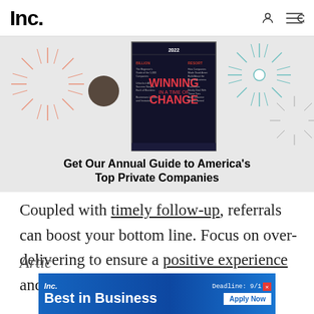Inc.
[Figure (illustration): Inc. magazine advertisement banner showing 2022 magazine cover 'Winning in a Time of Change' with decorative fireworks/starburst graphics in pink, teal, and gray. Text reads: Get Our Annual Guide to America's Top Private Companies]
Coupled with timely follow-up, referrals can boost your bottom line. Focus on over-delivering to ensure a positive experience and you'll see the benefits.
[Figure (advertisement): Inc. Best in Business banner ad. Deadline: 9/1. Apply Now button.]
Artic